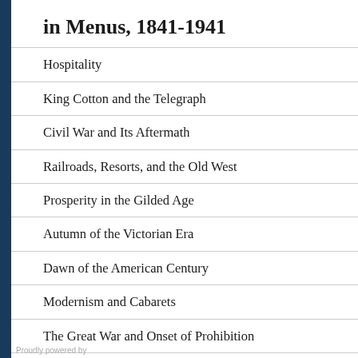in Menus, 1841-1941
Hospitality
King Cotton and the Telegraph
Civil War and Its Aftermath
Railroads, Resorts, and the Old West
Prosperity in the Gilded Age
Autumn of the Victorian Era
Dawn of the American Century
Modernism and Cabarets
The Great War and Onset of Prohibition
Echoes of the Jazz Age
The Great Depression and Recovery